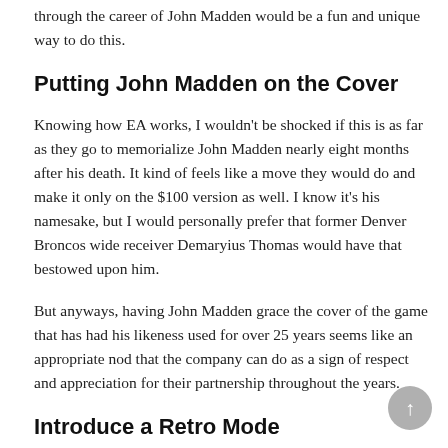through the career of John Madden would be a fun and unique way to do this.
Putting John Madden on the Cover
Knowing how EA works, I wouldn't be shocked if this is as far as they go to memorialize John Madden nearly eight months after his death. It kind of feels like a move they would do and make it only on the $100 version as well. I know it's his namesake, but I would personally prefer that former Denver Broncos wide receiver Demaryius Thomas would have that bestowed upon him.
But anyways, having John Madden grace the cover of the game that has had his likeness used for over 25 years seems like an appropriate nod that the company can do as a sign of respect and appreciation for their partnership throughout the years.
Introduce a Retro Mode
Another game mode that could be a fun wrinkle as a nod is